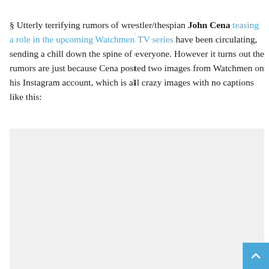§ Utterly terrifying rumors of wrestler/thespian John Cena teasing a role in the upcoming Watchmen TV series have been circulating, sending a chill down the spine of everyone. However it turns out the rumors are just because Cena posted two images from Watchmen on his Instagram account, which is all crazy images with no captions like this:
[Figure (photo): Gray placeholder image block representing an Instagram image posted by John Cena from Watchmen with no caption]